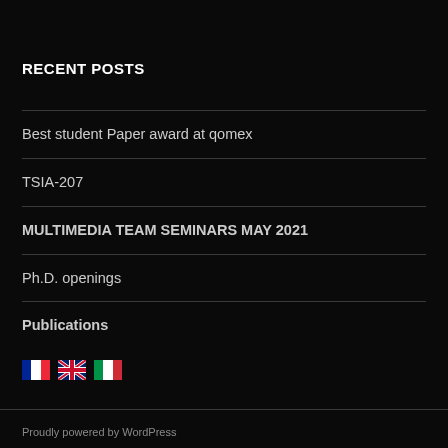RECENT POSTS
Best student Paper award at qomex
TSIA-207
MULTIMEDIA TEAM SEMINARS MAY 2021
Ph.D. openings
Publications
[Figure (other): Three country flags: French flag, UK flag, Italian flag]
Proudly powered by WordPress